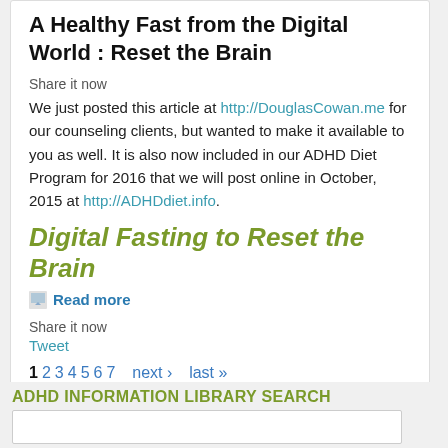A Healthy Fast from the Digital World : Reset the Brain
Share it now
We just posted this article at http://DouglasCowan.me for our counseling clients, but wanted to make it available to you as well. It is also now included in our ADHD Diet Program for 2016 that we will post online in October, 2015 at http://ADHDdiet.info.
Digital Fasting to Reset the Brain
Read more
Share it now
Tweet
1 2 3 4 5 6 7 next › last »
[Figure (other): RSS feed icon (orange square with white radio waves)]
ADHD INFORMATION LIBRARY SEARCH
Search input box